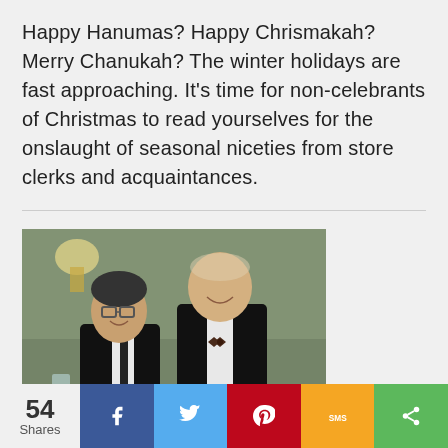Happy Hanumas? Happy Chrismakah? Merry Chanukah? The winter holidays are fast approaching. It's time for non-celebrants of Christmas to read yourselves for the onslaught of seasonal niceties from store clerks and acquaintances.
[Figure (photo): Two people in formal attire (tuxedos) seated at a table, smiling at the camera. One younger person with glasses on the left, one older person with a bow tie on the right. Indoor banquet or event setting.]